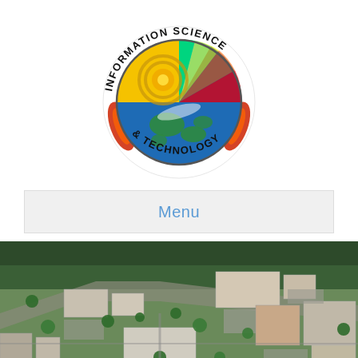[Figure (logo): Information Science & Technology circular logo featuring a globe, satellite imagery, and flame design with text around the perimeter reading 'Information Science & Technology']
Menu
[Figure (photo): Aerial photograph of a government or research campus with multiple large buildings, parking lots, roads, and trees in a suburban/wooded setting]